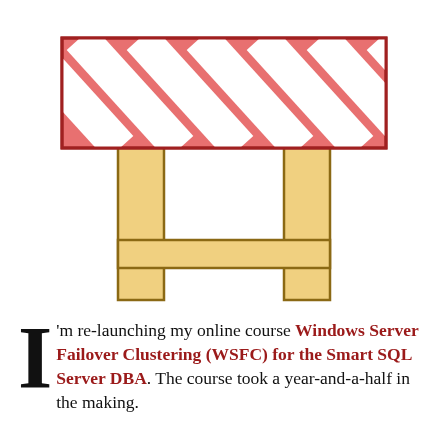[Figure (illustration): A road construction barrier illustration with red and white diagonal striped top board, two tan/beige wooden legs, and a horizontal crossbar connecting the legs near the bottom.]
I'm re-launching my online course Windows Server Failover Clustering (WSFC) for the Smart SQL Server DBA. The course took a year-and-a-half in the making.